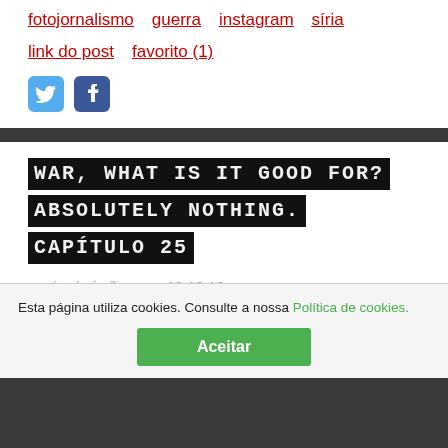fotojornalismo   guerra   instagram   síria
link do post   favorito (1)
[Figure (other): Twitter and Facebook social share icon buttons]
WAR, WHAT IS IT GOOD FOR? ABSOLUTELY NOTHING. CAPÍTULO 25
por josé simões, em 19.10.19
Esta página utiliza cookies. Consulte a nossa Política de cookies.
Aceitar